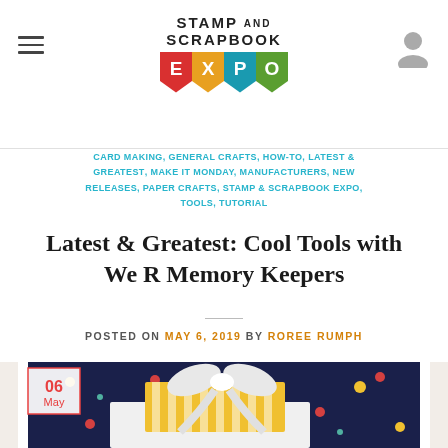Stamp and Scrapbook EXPO
CARD MAKING, GENERAL CRAFTS, HOW-TO, LATEST & GREATEST, MAKE IT MONDAY, MANUFACTURERS, NEW RELEASES, PAPER CRAFTS, STAMP & SCRAPBOOK EXPO, TOOLS, TUTORIAL
Latest & Greatest: Cool Tools with We R Memory Keepers
POSTED ON MAY 6, 2019 BY ROREE RUMPH
[Figure (photo): Craft project photo showing a handmade card or gift box with navy floral background paper, a white ribbon bow, yellow striped paper, and a date badge overlay showing '06 May']